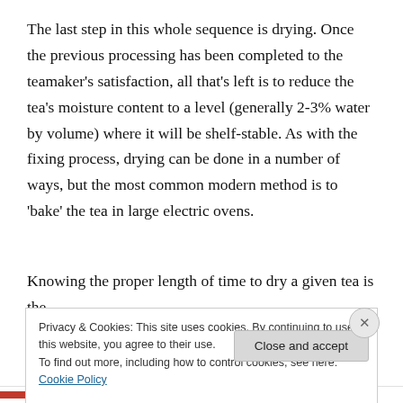The last step in this whole sequence is drying. Once the previous processing has been completed to the teamaker's satisfaction, all that's left is to reduce the tea's moisture content to a level (generally 2-3% water by volume) where it will be shelf-stable. As with the fixing process, drying can be done in a number of ways, but the most common modern method is to 'bake' the tea in large electric ovens.
Knowing the proper length of time to dry a given tea is the
Privacy & Cookies: This site uses cookies. By continuing to use this website, you agree to their use.
To find out more, including how to control cookies, see here: Cookie Policy
Close and accept
ILOVETHA.COM